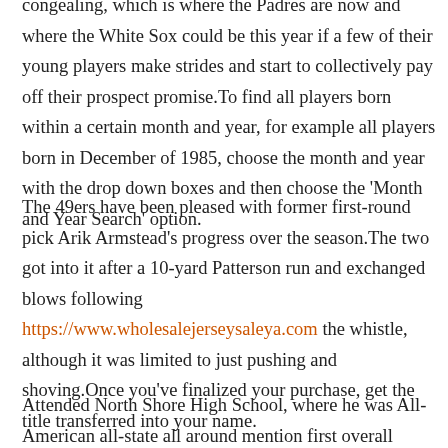congealing, which is where the Padres are now and where the White Sox could be this year if a few of their young players make strides and start to collectively pay off their prospect promise.To find all players born within a certain month and year, for example all players born in December of 1985, choose the month and year with the drop down boxes and then choose the 'Month and Year Search' option.
The 49ers have been pleased with former first-round pick Arik Armstead's progress over the season.The two got into it after a 10-yard Patterson run and exchanged blows following https://www.wholesalejerseysaleya.com the whistle, although it was limited to just pushing and shoving.Once you've finalized your purchase, get the title transferred into your name.
Attended North Shore High School, where he was All-American all-state all around mention first overall